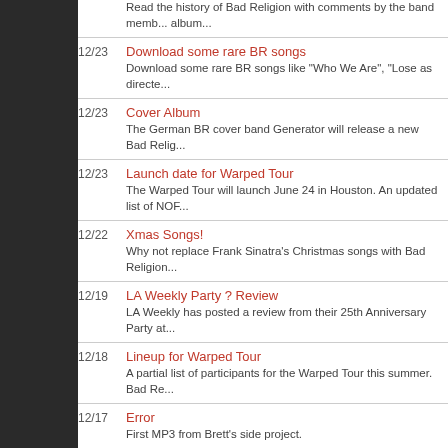Read the history of Bad Religion with comments by the band members for each album...
12/23 Download some rare BR songs — Download some rare BR songs like "Who We Are", "Lose as directed...
12/23 Cover Album — The German BR cover band Generator will release a new Bad Relig...
12/23 Launch date for Warped Tour — The Warped Tour will launch June 24 in Houston. An updated list of NOF...
12/22 Xmas Songs! — Why not replace Frank Sinatra's Christmas songs with Bad Religion...
12/19 LA Weekly Party ? Review — LA Weekly has posted a review from their 25th Anniversary Party at...
12/18 Lineup for Warped Tour — A partial list of participants for the Warped Tour this summer. Bad Re...
12/17 Error — First MP3 from Brett's side project.
12/16 Brian Baker learn you play guitar — Learn how to play guitar with Brain Baker!
12/13 LA Weekly 25th Anniversary Celebration — Bad Religion performed last night (12 December) at the historic Par... Anniversar...